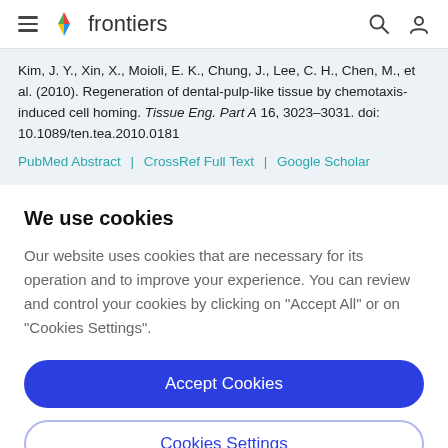frontiers
Kim, J. Y., Xin, X., Moioli, E. K., Chung, J., Lee, C. H., Chen, M., et al. (2010). Regeneration of dental-pulp-like tissue by chemotaxis-induced cell homing. Tissue Eng. Part A 16, 3023–3031. doi: 10.1089/ten.tea.2010.0181
PubMed Abstract | CrossRef Full Text | Google Scholar
We use cookies
Our website uses cookies that are necessary for its operation and to improve your experience. You can review and control your cookies by clicking on "Accept All" or on "Cookies Settings".
Accept Cookies
Cookies Settings